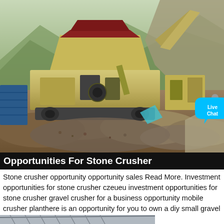[Figure (photo): A large yellow mobile stone crusher machine operating at a quarry site, with rocky hillside and green mountains in the background. Piles of crushed stone and gravel are visible in the foreground. A cyan 'Live Chat' speech bubble overlay appears in the lower right of the image.]
Opportunities For Stone Crusher
Stone crusher opportunity opportunity sales Read More. Investment opportunities for stone crusher czeueu investment opportunities for stone crusher gravel crusher for a business opportunity mobile crusher planthere is an opportunity for you to own a diy small gravel
[Figure (photo): Partial image of what appears to be a metal framework or structure, partially visible at the bottom of the page.]